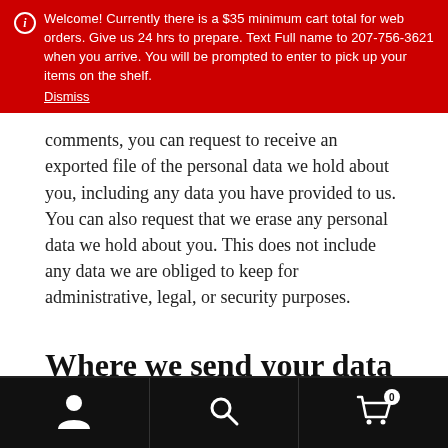ℹ Welcome! Currently there is a $35 minimum cart total for web orders. Give us 24 hrs to prepare. Text Full name to 207-756-3621 when you arrive. You will be prompted to enter to pick up your items on the shelf. Dismiss
comments, you can request to receive an exported file of the personal data we hold about you, including any data you have provided to us. You can also request that we erase any personal data we hold about you. This does not include any data we are obliged to keep for administrative, legal, or security purposes.
Where we send your data
Visitor comments may be checked through an automated spam detection service.
Navigation footer with person icon, search icon, and cart icon (0 items)